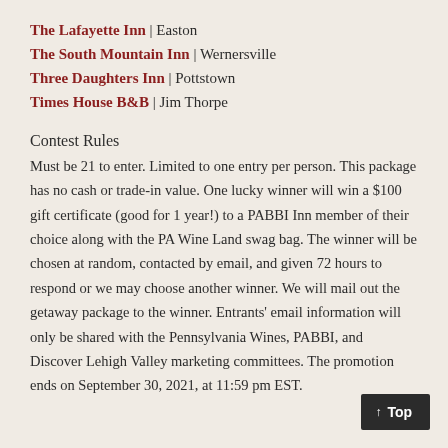The Lafayette Inn | Easton
The South Mountain Inn | Wernersville
Three Daughters Inn | Pottstown
Times House B&B | Jim Thorpe
Contest Rules
Must be 21 to enter. Limited to one entry per person. This package has no cash or trade-in value. One lucky winner will win a $100 gift certificate (good for 1 year!) to a PABBI Inn member of their choice along with the PA Wine Land swag bag. The winner will be chosen at random, contacted by email, and given 72 hours to respond or we may choose another winner. We will mail out the getaway package to the winner. Entrants' email information will only be shared with the Pennsylvania Wines, PABBI, and Discover Lehigh Valley marketing committees. The promotion ends on September 30, 2021, at 11:59 pm EST.